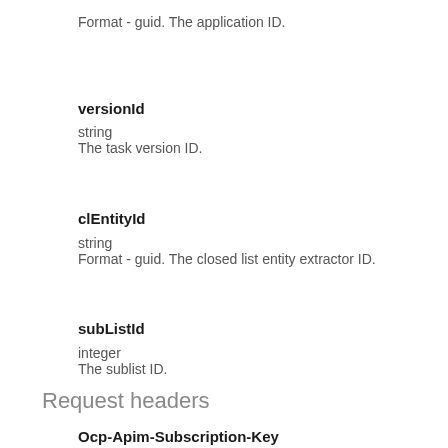Format - guid. The application ID.
versionId
string
The task version ID.
clEntityId
string
Format - guid. The closed list entity extractor ID.
subListId
integer
The sublist ID.
Request headers
Ocp-Apim-Subscription-Key